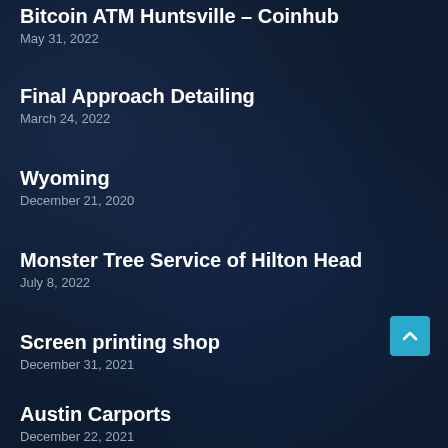Bitcoin ATM Huntsville – Coinhub
May 31, 2022
Final Approach Detailing
March 24, 2022
Wyoming
December 21, 2020
Monster Tree Service of Hilton Head
July 8, 2022
Screen printing shop
December 31, 2021
Austin Carports
December 22, 2021